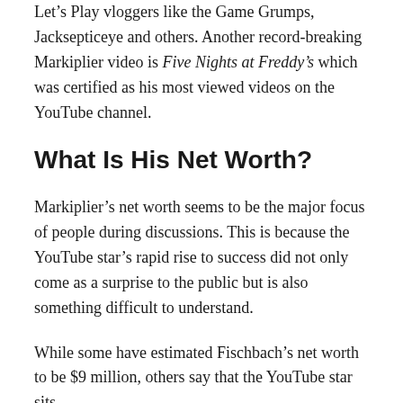Let's Play vloggers like the Game Grumps, Jacksepticeye and others. Another record-breaking Markiplier video is Five Nights at Freddy's which was certified as his most viewed videos on the YouTube channel.
What Is His Net Worth?
Markiplier's net worth seems to be the major focus of people during discussions. This is because the YouTube star's rapid rise to success did not only come as a surprise to the public but is also something difficult to understand.
While some have estimated Fischbach's net worth to be $9 million, others say that the YouTube star sits